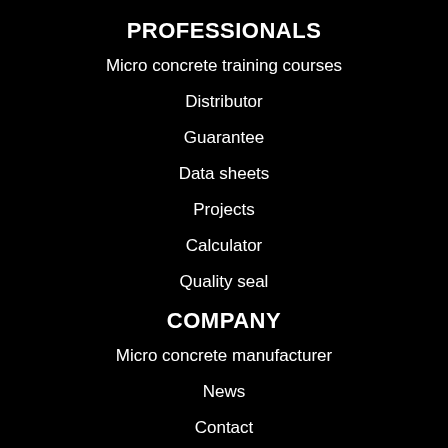PROFESSIONALS
Micro concrete training courses
Distributor
Guarantee
Data sheets
Projects
Calculator
Quality seal
COMPANY
Micro concrete manufacturer
News
Contact
Subscribe to our newsletter